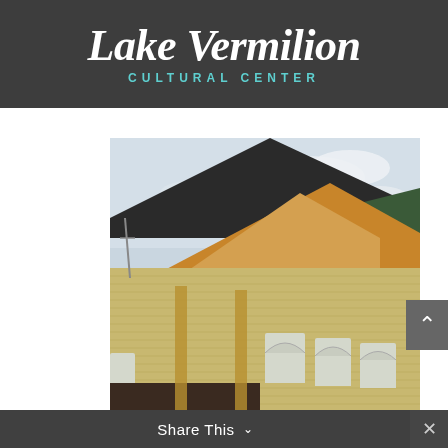Lake Vermilion CULTURAL CENTER
[Figure (photo): Construction photo of a church building with tan/yellow siding, gothic arched windows, and a new wooden gable roof addition being built over the entrance. The structure shows exposed wood framing and beams supporting the new roof overhang. Cloudy sky in background.]
Share This